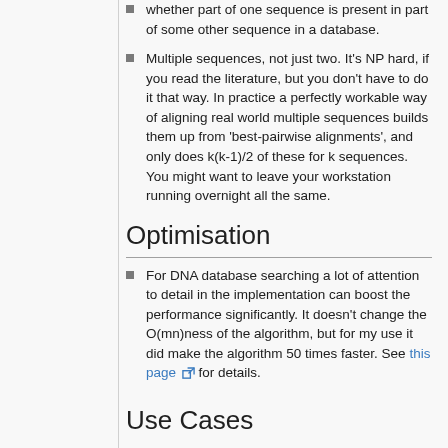whether part of one sequence is present in part of some other sequence in a database.
Multiple sequences, not just two. It's NP hard, if you read the literature, but you don't have to do it that way. In practice a perfectly workable way of aligning real world multiple sequences builds them up from 'best-pairwise alignments', and only does k(k-1)/2 of these for k sequences. You might want to leave your workstation running overnight all the same.
Optimisation
For DNA database searching a lot of attention to detail in the implementation can boost the performance significantly. It doesn't change the O(mn)ness of the algorithm, but for my use it did make the algorithm 50 times faster. See this page for details.
Use Cases